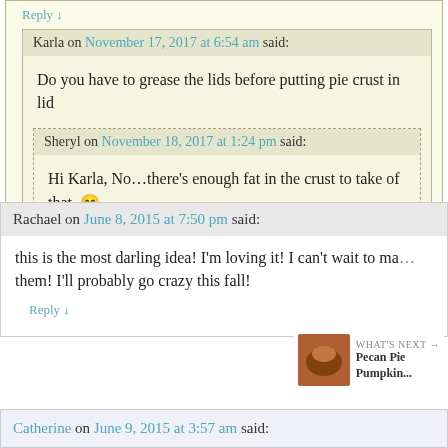Reply ↓
Karla on November 17, 2017 at 6:54 am said:
Do you have to grease the lids before putting pie crust in lid
Sheryl on November 18, 2017 at 1:24 pm said:
Hi Karla, No…there's enough fat in the crust to take of that. 😀
Rachael on June 8, 2015 at 7:50 pm said:
this is the most darling idea! I'm loving it! I can't wait to ma... them! I'll probably go crazy this fall!
Reply ↓
WHAT'S NEXT → Pecan Pie Pumpkin...
Catherine on June 9, 2015 at 3:57 am said: